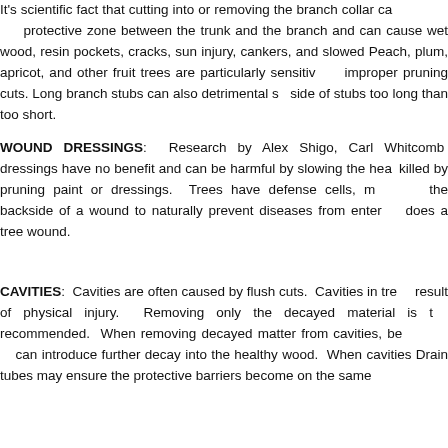It's scientific fact that cutting into or removing the branch collar ca... protective zone between the trunk and the branch and can cause wet wood, resin pockets, cracks, sun injury, cankers, and slowed... Peach, plum, apricot, and other fruit trees are particularly sensitive improper pruning cuts. Long branch stubs can also detrimental so side of stubs too long than too short.
WOUND DRESSINGS: Research by Alex Shigo, Carl Whitcomb... dressings have no benefit and can be harmful by slowing the hea... killed by pruning paint or dressings. Trees have defense cells, m... the backside of a wound to naturally prevent diseases from enter... does a tree wound.
CAVITIES: Cavities are often caused by flush cuts. Cavities in tre... result of physical injury. Removing only the decayed material is t... recommended. When removing decayed matter from cavities, be... can introduce further decay into the healthy wood. When cavities Drain tubes may ensure the protective barriers become the same...